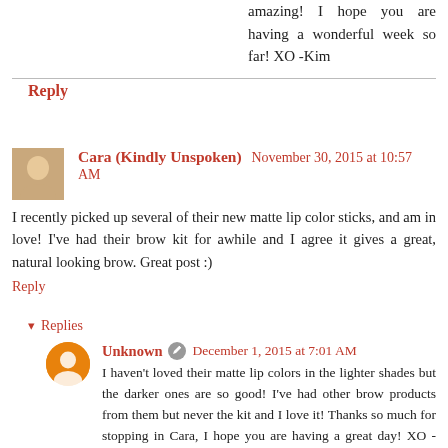amazing! I hope you are having a wonderful week so far! XO -Kim
Reply
Cara (Kindly Unspoken) November 30, 2015 at 10:57 AM
I recently picked up several of their new matte lip color sticks, and am in love! I've had their brow kit for awhile and I agree it gives a great, natural looking brow. Great post :)
Reply
Replies
Unknown December 1, 2015 at 7:01 AM
I haven't loved their matte lip colors in the lighter shades but the darker ones are so good! I've had other brow products from them but never the kit and I love it! Thanks so much for stopping in Cara, I hope you are having a great day! XO -Kim